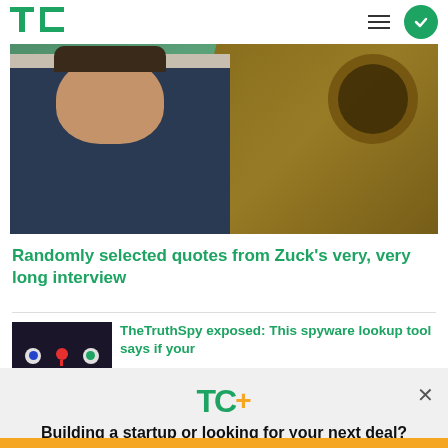TechCrunch
[Figure (screenshot): Hero image showing a 3D avatar person in dark clothing with a brownish industrial structure in the background on a green environment]
Randomly selected quotes from Zuck's very, very long interview
[Figure (screenshot): Thumbnail image with cartoon eyes and map pin icons on dark background]
TheTruthSpy exposed: This spyware lookup tool says if your
[Figure (logo): TechCrunch TC+ logo with green TC letters and orange plus sign]
Building a startup or looking for your next deal? We have you covered.
EXPLORE NOW